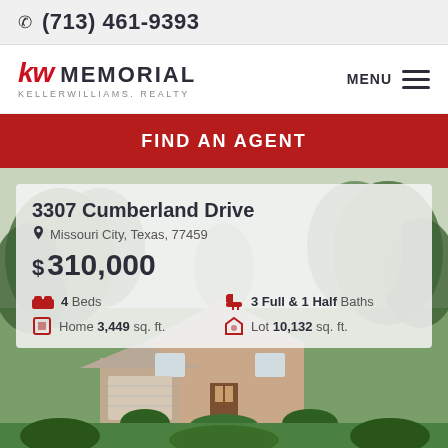(713) 461-9393
[Figure (logo): KW Memorial Keller Williams Realty logo with MENU hamburger icon]
FIND AN AGENT
[Figure (photo): Exterior photo of a suburban brick home with trees and landscaping]
3307 Cumberland Drive
Missouri City, Texas, 77459
$ 310,000
4 Beds
3 Full & 1 Half Baths
Home 3,449 sq. ft.
Lot 10,132 sq. ft.